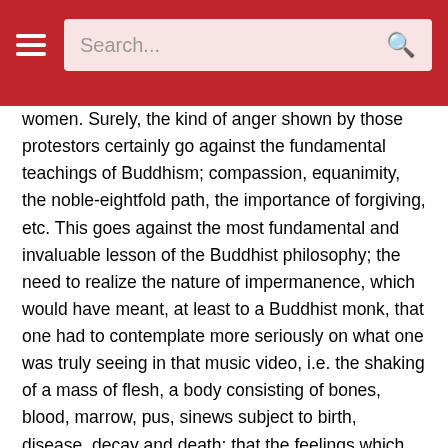Search...
with matters that involved some several questions involving women. Surely, the kind of anger shown by those protestors certainly go against the fundamental teachings of Buddhism; compassion, equanimity, the noble-eightfold path, the importance of forgiving, etc. This goes against the most fundamental and invaluable lesson of the Buddhist philosophy; the need to realize the nature of impermanence, which would have meant, at least to a Buddhist monk, that one had to contemplate more seriously on what one was truly seeing in that music video, i.e. the shaking of a mass of flesh, a body consisting of bones, blood, marrow, pus, sinews subject to birth, disease, decay and death; that the feelings which may have been aroused, of anger, even lust, would pass away with a more focused mind directed towards insight meditation; that what was seen in the form of Akon is that of a truly misguided and ignorant fellow who would have not known what on earth this